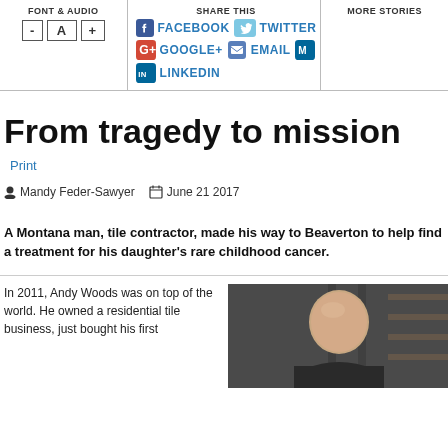FONT & AUDIO | SHARE THIS | MORE STORIES
From tragedy to mission
Print
Mandy Feder-Sawyer  June 21 2017
A Montana man, tile contractor, made his way to Beaverton to help find a treatment for his daughter's rare childhood cancer.
In 2011, Andy Woods was on top of the world. He owned a residential tile business, just bought his first
[Figure (photo): Photo of a bald man in a dark setting with shelves visible in background]